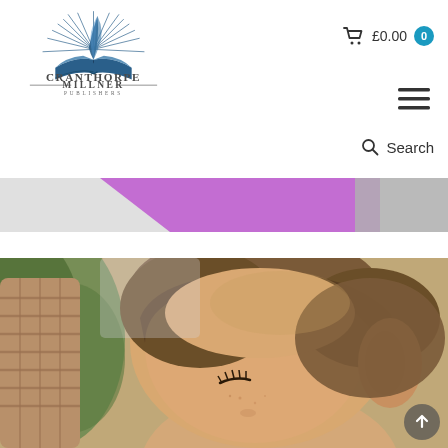[Figure (logo): Cranthorpe Millner Publishers logo: open book with quill pen and radiating lines in blue, text 'CRANTHORPE MILLNER PUBLISHERS' below]
£0.00  0
[Figure (other): Hamburger menu icon (three horizontal lines)]
Search
[Figure (other): Banner strip with purple triangular shape on left side and grey shape on right]
[Figure (photo): Close-up photo of a child with short brown hair, visible ear on the right, and eyelashes, with green foliage and wicker basket in background]